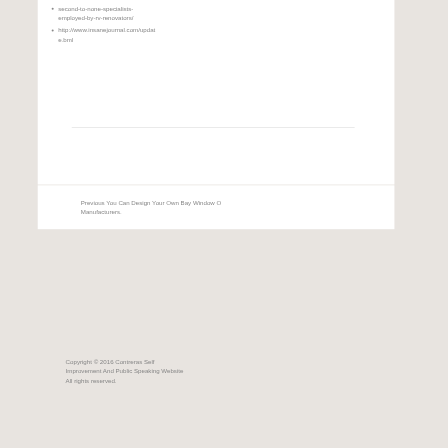second-to-none-specialists-employed-by-rv-renovators/
http://www.insanejournal.com/update.bml
Previous You Can Design Your Own Bay Window O Manufacturers.
Copyright © 2016 Contreras Self Improvement And Public Speaking Website All rights reserved.